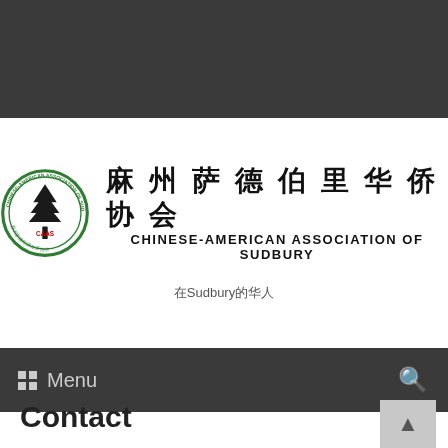[Figure (logo): CAAS circular green logo with tree symbol and Chinese-American Association of Sudbury text, alongside Chinese and English organization name]
在Sudbury的华人
Menu
Contact